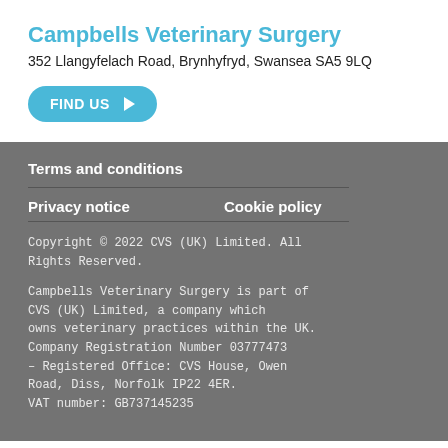Campbells Veterinary Surgery
352 Llangyfelach Road, Brynhyfryd, Swansea SA5 9LQ
FIND US
Terms and conditions
Privacy notice
Cookie policy
Copyright © 2022 CVS (UK) Limited. All Rights Reserved.
Campbells Veterinary Surgery is part of CVS (UK) Limited, a company which owns veterinary practices within the UK. Company Registration Number 03777473 – Registered Office: CVS House, Owen Road, Diss, Norfolk IP22 4ER. VAT number: GB737145235